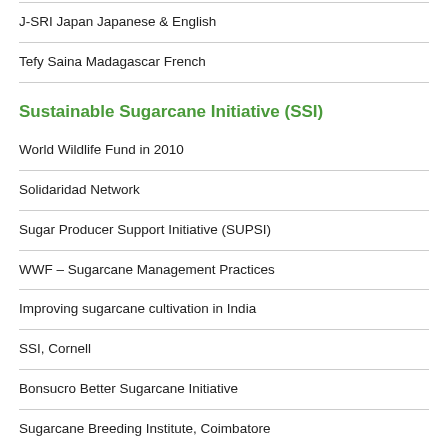J-SRI Japan Japanese & English
Tefy Saina Madagascar French
Sustainable Sugarcane Initiative (SSI)
World Wildlife Fund in 2010
Solidaridad Network
Sugar Producer Support Initiative (SUPSI)
WWF – Sugarcane Management Practices
Improving sugarcane cultivation in India
SSI, Cornell
Bonsucro Better Sugarcane Initiative
Sugarcane Breeding Institute, Coimbatore